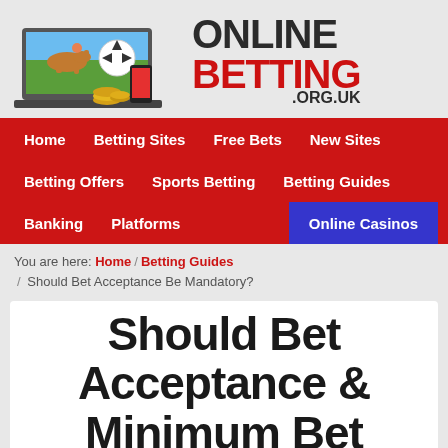[Figure (logo): OnlineBetting.org.uk logo with sports imagery (horse racing, rugby ball, soccer ball, smartphone, coins) on a laptop screen alongside the site brand name]
[Figure (screenshot): Navigation menu bar in red with items: Home, Betting Sites, Free Bets, New Sites, Betting Offers, Sports Betting, Betting Guides, Banking, Platforms, Online Casinos (highlighted in blue)]
You are here: Home / Betting Guides / Should Bet Acceptance Be Mandatory?
Should Bet Acceptance & Minimum Bet